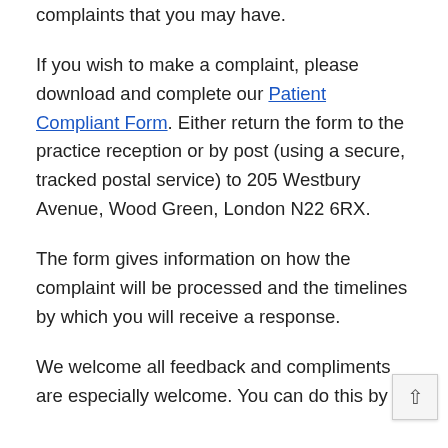opportunity to tell us about any concerns or complaints that you may have.
If you wish to make a complaint, please download and complete our Patient Compliant Form. Either return the form to the practice reception or by post (using a secure, tracked postal service) to 205 Westbury Avenue, Wood Green, London N22 6RX.
The form gives information on how the complaint will be processed and the timelines by which you will receive a response.
We welcome all feedback and compliments are especially welcome. You can do this by